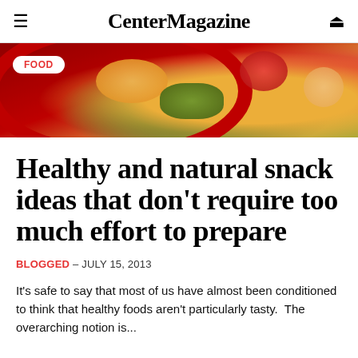Center Magazine
[Figure (photo): Close-up photo of a red bowl/plate with colorful food including yellow fruit pieces, strawberries, and green salad leaves. A white badge with 'FOOD' in red text overlays the top-left corner of the image.]
Healthy and natural snack ideas that don't require too much effort to prepare
BLOGGED – JULY 15, 2013
It's safe to say that most of us have almost been conditioned to think that healthy foods aren't particularly tasty.  The overarching notion is...